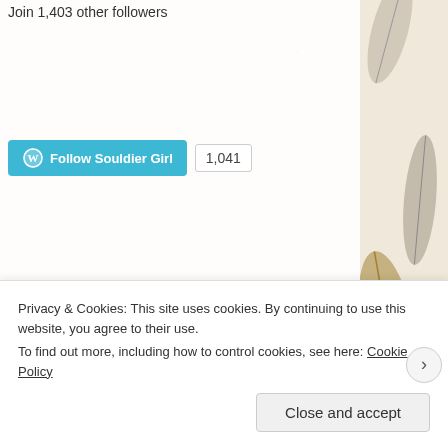Join 1,403 other followers
[Figure (screenshot): WordPress Follow Souldier Girl button (teal/blue) with follower count badge showing 1,041]
[Figure (illustration): Decorative background with feathers illustration]
COME FIND ME
[Figure (other): Social media icons: Twitter bird, Instagram camera, Pinterest P]
ME AND MY PHOTOGRAPHY
[Figure (photo): Two photos side by side: left shows a person with blonde hair, right shows a black and white textured image]
Privacy & Cookies: This site uses cookies. By continuing to use this website, you agree to their use.
To find out more, including how to control cookies, see here: Cookie Policy
Close and accept